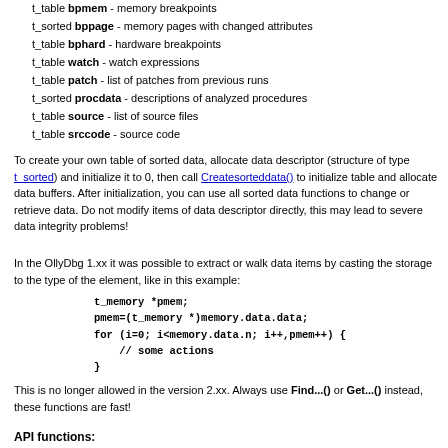t_table bpmem - memory breakpoints
t_sorted bppage - memory pages with changed attributes
t_table bphard - hardware breakpoints
t_table watch - watch expressions
t_table patch - list of patches from previous runs
t_sorted procdata - descriptions of analyzed procedures
t_table source - list of source files
t_table srccode - source code
To create your own table of sorted data, allocate data descriptor (structure of type t_sorted) and initialize it to 0, then call Createsorteddata() to initialize table and allocate data buffers. After initialization, you can use all sorted data functions to change or retrieve data. Do not modify items of data descriptor directly, this may lead to severe data integrity problems!
In the OllyDbg 1.xx it was possible to extract or walk data items by casting the storage to the type of the element, like in this example:
This is no longer allowed in the version 2.xx. Always use Find...() or Get...() instead, these functions are fast!
API functions: